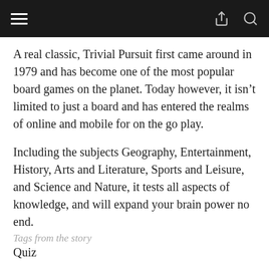☰  [share icon]  [search icon]
A real classic, Trivial Pursuit first came around in 1979 and has become one of the most popular board games on the planet. Today however, it isn't limited to just a board and has entered the realms of online and mobile for on the go play.
Including the subjects Geography, Entertainment, History, Arts and Literature, Sports and Leisure, and Science and Nature, it tests all aspects of knowledge, and will expand your brain power no end.
Tags from the story
Quiz